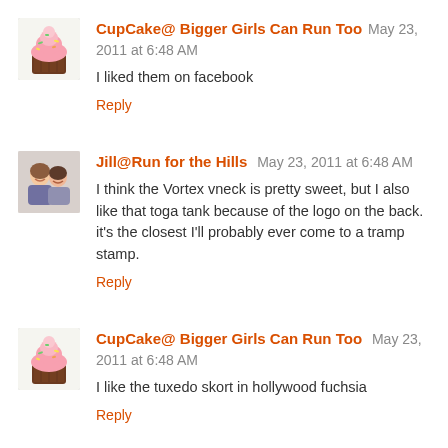[Figure (photo): Avatar image of a cupcake with pink and green frosting]
CupCake@ Bigger Girls Can Run Too May 23, 2011 at 6:48 AM
I liked them on facebook
Reply
[Figure (photo): Avatar image of two girls/women smiling]
Jill@Run for the Hills May 23, 2011 at 6:48 AM
I think the Vortex vneck is pretty sweet, but I also like that toga tank because of the logo on the back. it's the closest I'll probably ever come to a tramp stamp.
Reply
[Figure (photo): Avatar image of a cupcake with pink and green frosting]
CupCake@ Bigger Girls Can Run Too May 23, 2011 at 6:48 AM
I like the tuxedo skort in hollywood fuchsia
Reply